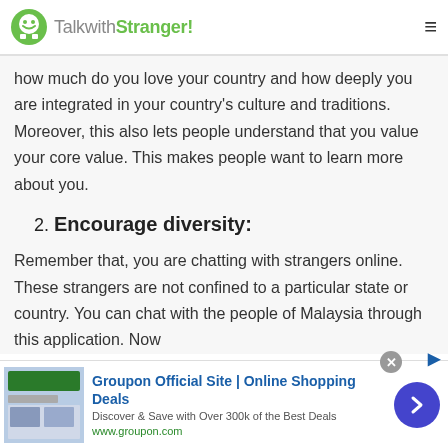TalkwithStranger!
how much do you love your country and how deeply you are integrated in your country's culture and traditions. Moreover, this also lets people understand that you value your core value. This makes people want to learn more about you.
2. Encourage diversity:
Remember that, you are chatting with strangers online. These strangers are not confined to a particular state or country. You can chat with the people of Malaysia through this application. Now
[Figure (screenshot): Groupon advertisement banner: 'Groupon Official Site | Online Shopping Deals - Discover & Save with Over 300k of the Best Deals - www.groupon.com' with thumbnail image and blue arrow button]